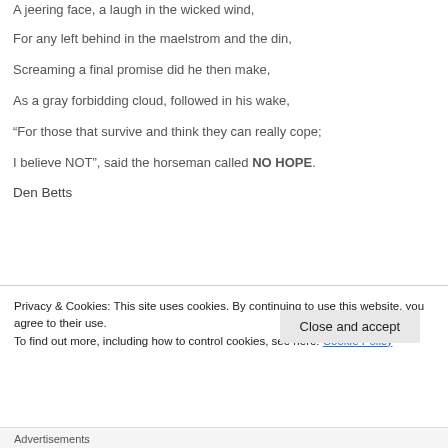A jeering face, a laugh in the wicked wind,
For any left behind in the maelstrom and the din,
Screaming a final promise did he then make,
As a gray forbidding cloud, followed in his wake,
“For those that survive and think they can really cope;
I believe NOT”, said the horseman called NO HOPE.
Den Betts
Privacy & Cookies: This site uses cookies. By continuing to use this website, you agree to their use.
To find out more, including how to control cookies, see here: Cookie Policy
Close and accept
Advertisements